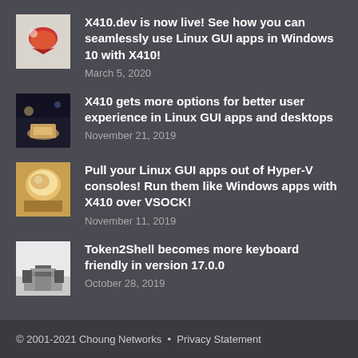X410.dev is now live! See how you can seamlessly use Linux GUI apps in Windows 10 with X410! — March 5, 2020
X410 gets more options for better user experience in Linux GUI apps and desktops — November 21, 2019
Pull your Linux GUI apps out of Hyper-V consoles! Run them like Windows apps with X410 over VSOCK! — November 11, 2019
Token2Shell becomes more keyboard friendly in version 17.0.0 — October 28, 2019
© 2001-2021 Choung Networks • Privacy Statement